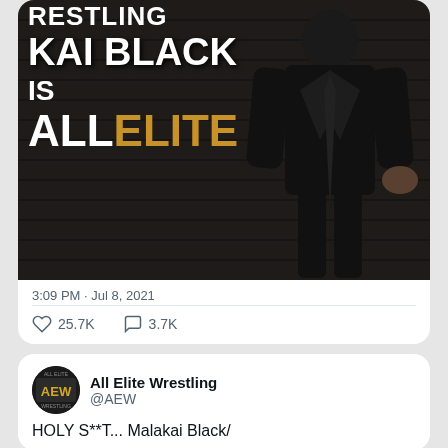[Figure (photo): Promotional photo for AEW showing text 'WRESTLING MALAKAI BLACK IS ALL ELITE' with a person in black suit against dark brick wall background]
3:09 PM · Jul 8, 2021
♡ 25.7K   💬 3.7K
All Elite Wrestling @AEW
HOLY S**T... Malakai Black/